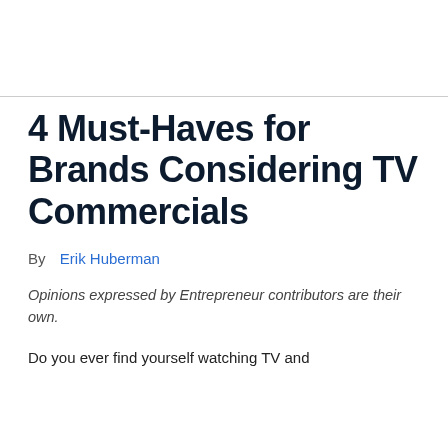4 Must-Haves for Brands Considering TV Commercials
By  Erik Huberman
Opinions expressed by Entrepreneur contributors are their own.
Do you ever find yourself watching TV and